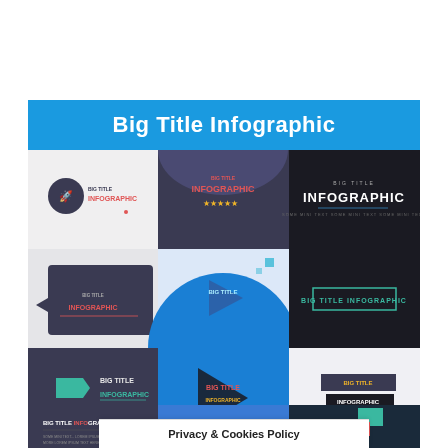Big Title Infographic
[Figure (infographic): A 3x3 grid of thumbnail previews of 'Big Title Infographic' design templates, each showing different color schemes and title treatments (dark, blue, light backgrounds). Includes mini text: 'BIG TITLE INFOGRAPHIC' in various styles.]
Privacy & Cookies Policy